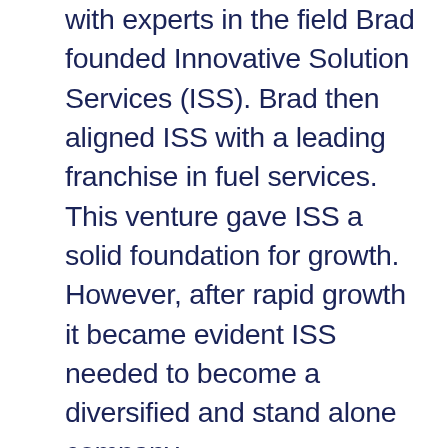with experts in the field Brad founded Innovative Solution Services (ISS). Brad then aligned ISS with a leading franchise in fuel services. This venture gave ISS a solid foundation for growth. However, after rapid growth it became evident ISS needed to become a diversified and stand alone company.